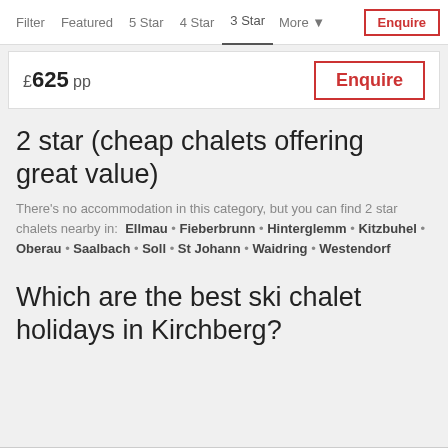Filter  Featured  5 Star  4 Star  3 Star  More ▾  Enquire
£625 pp
Enquire
2 star (cheap chalets offering great value)
There's no accommodation in this category, but you can find 2 star chalets nearby in:  Ellmau • Fieberbrunn • Hinterglemm • Kitzbuhel • Oberau • Saalbach • Soll • St Johann • Waidring • Westendorf
Which are the best ski chalet holidays in Kirchberg?